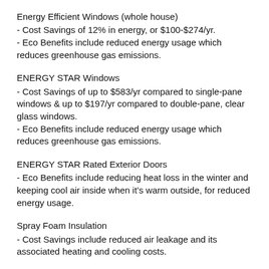Energy Efficient Windows (whole house)
- Cost Savings of 12% in energy, or $100-$274/yr.
- Eco Benefits include reduced energy usage which reduces greenhouse gas emissions.
ENERGY STAR Windows
- Cost Savings of up to $583/yr compared to single-pane windows & up to $197/yr compared to double-pane, clear glass windows.
- Eco Benefits include reduced energy usage which reduces greenhouse gas emissions.
ENERGY STAR Rated Exterior Doors
- Eco Benefits include reducing heat loss in the winter and keeping cool air inside when it’s warm outside, for reduced energy usage.
Spray Foam Insulation
- Cost Savings include reduced air leakage and its associated heating and cooling costs.